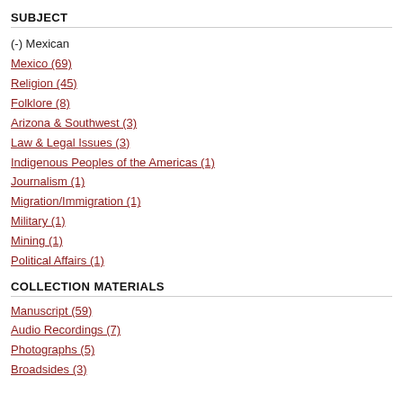SUBJECT
(-) Mexican
Mexico (69)
Religion (45)
Folklore (8)
Arizona & Southwest (3)
Law & Legal Issues (3)
Indigenous Peoples of the Americas (1)
Journalism (1)
Migration/Immigration (1)
Military (1)
Mining (1)
Political Affairs (1)
COLLECTION MATERIALS
Manuscript (59)
Audio Recordings (7)
Photographs (5)
Broadsides (3)